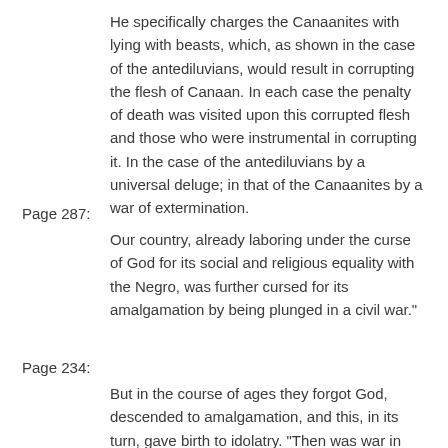He specifically charges the Canaanites with lying with beasts, which, as shown in the case of the antediluvians, would result in corrupting the flesh of Canaan. In each case the penalty of death was visited upon this corrupted flesh and those who were instrumental in corrupting it. In the case of the antediluvians by a universal deluge; in that of the Canaanites by a war of extermination.
Page 287:
Our country, already laboring under the curse of God for its social and religious equality with the Negro, was further cursed for its amalgamation by being plunged in a civil war."
Page 234:
But in the course of ages they forgot God, descended to amalgamation, and this, in its turn, gave birth to idolatry. "Then was war in the